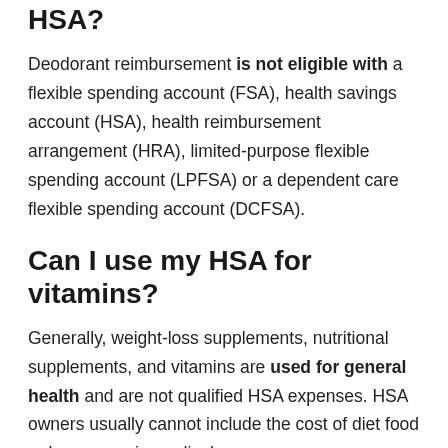HSA?
Deodorant reimbursement is not eligible with a flexible spending account (FSA), health savings account (HSA), health reimbursement arrangement (HRA), limited-purpose flexible spending account (LPFSA) or a dependent care flexible spending account (DCFSA).
Can I use my HSA for vitamins?
Generally, weight-loss supplements, nutritional supplements, and vitamins are used for general health and are not qualified HSA expenses. HSA owners usually cannot include the cost of diet food or beverages in medical expenses